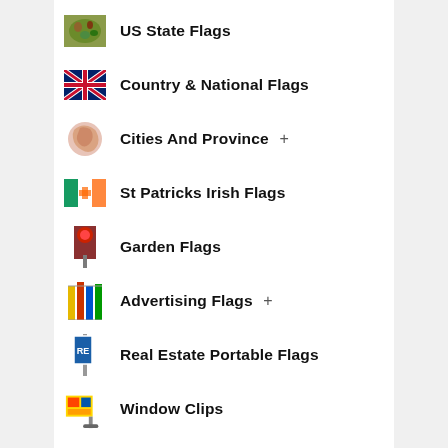US State Flags
Country & National Flags
Cities And Province +
St Patricks Irish Flags
Garden Flags
Advertising Flags +
Real Estate Portable Flags
Window Clips
Peace Flags
Religion Flags +
Holiday Flags